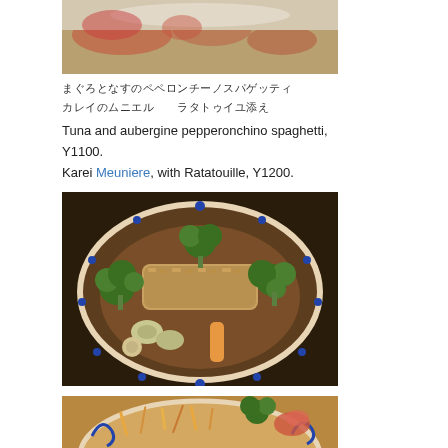[Figure (photo): Top portion of a food dish on a white plate, partially visible, showing what appears to be fish or pasta with tomatoes and sauce]
まぐろとなすのペペロンチーノスパゲッティ
カレイのムニエル　ラタトゥイユ添え
Tuna and aubergine pepperonchino spaghetti, Y1100.
Karei Meuniere, with Ratatouille, Y1200.
[Figure (photo): A breaded fish fillet (Karei Meuniere) served on a round plate with blue decorative border, surrounded by broccoli, carrots, zucchini slices, and other vegetables in a brown sauce (Ratatouille)]
[Figure (photo): Bottom portion of another food dish on a decorated plate, partially visible, showing shredded vegetables and garnish]